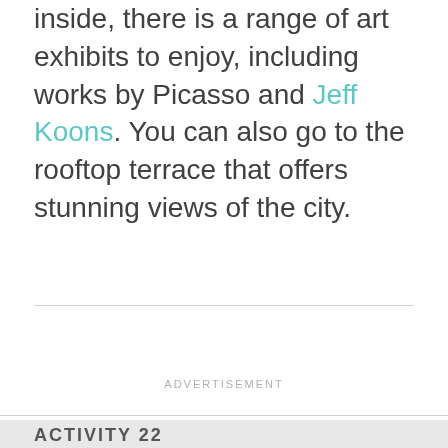inside, there is a range of art exhibits to enjoy, including works by Picasso and Jeff Koons. You can also go to the rooftop terrace that offers stunning views of the city.
ADVERTISEMENT
ACTIVITY 22